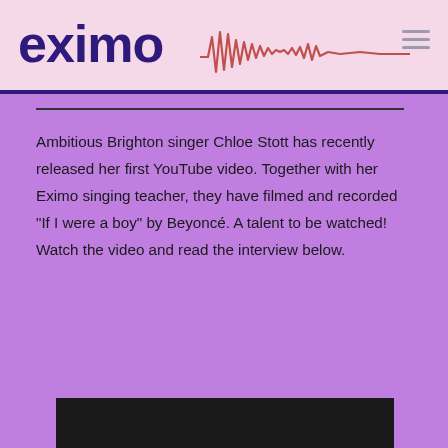[Figure (logo): Eximo logo with purple bold text and red audio waveform graphic, pink background header]
Ambitious Brighton singer Chloe Stott has recently released her first YouTube video. Together with her Eximo singing teacher, they have filmed and recorded "If I were a boy" by Beyoncé. A talent to be watched! Watch the video and read the interview below.
[Figure (screenshot): Black video thumbnail at bottom of page]